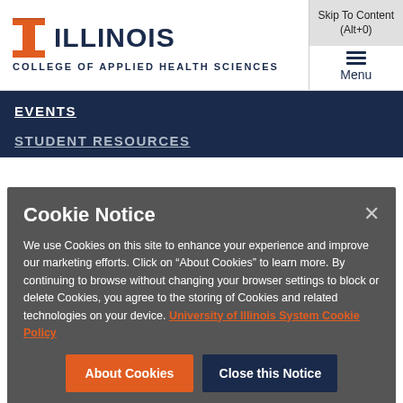[Figure (logo): University of Illinois block I logo in orange]
ILLINOIS
COLLEGE OF APPLIED HEALTH SCIENCES
Skip To Content (Alt+0)
Menu
EVENTS
STUDENT RESOURCES
Cookie Notice
We use Cookies on this site to enhance your experience and improve our marketing efforts. Click on “About Cookies” to learn more. By continuing to browse without changing your browser settings to block or delete Cookies, you agree to the storing of Cookies and related technologies on your device. University of Illinois System Cookie Policy
About Cookies
Close this Notice